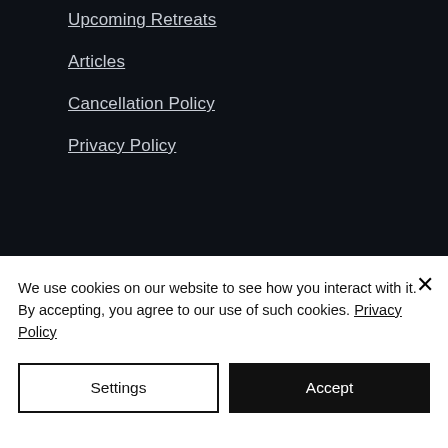Upcoming Retreats
Articles
Cancellation Policy
Privacy Policy
We use cookies on our website to see how you interact with it. By accepting, you agree to our use of such cookies. Privacy Policy
Settings
Accept